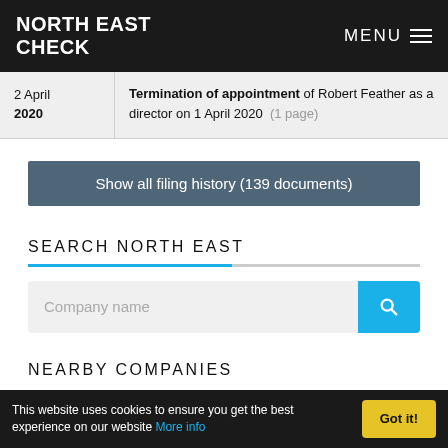NORTH EAST CHECK | MENU
| Date | Description |
| --- | --- |
| 2 April 2020 | Termination of appointment of Robert Feather as a director on 1 April 2020 (1 page) |
Show all filing history (139 documents)
SEARCH NORTH EAST
Company name
NEARBY COMPANIES
This website uses cookies to ensure you get the best experience on our website More info | Got it!